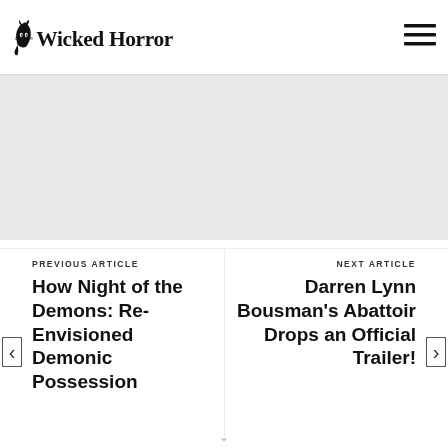[Figure (logo): Wicked Horror logo in stylized horror typeface, black text on white background]
[Figure (other): Hamburger menu icon — three horizontal lines, top right of header]
[Figure (other): Gray placeholder content area below header]
PREVIOUS ARTICLE
How Night of the Demons: Re-Envisioned Demonic Possession
NEXT ARTICLE
Darren Lynn Bousman's Abattoir Drops an Official Trailer!